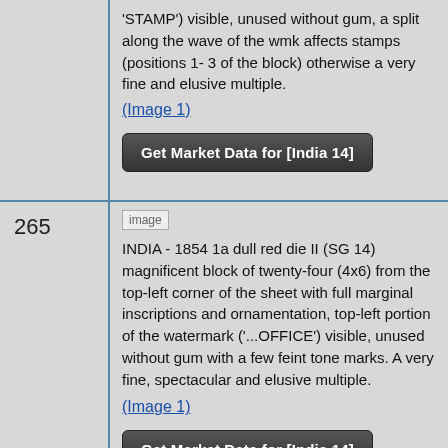'STAMP') visible, unused without gum, a split along the wave of the wmk affects stamps (positions 1- 3 of the block) otherwise a very fine and elusive multiple.
(Image 1)
Get Market Data for [India 14]
265
[Figure (photo): Small thumbnail image placeholder labelled 'image']
INDIA - 1854 1a dull red die II (SG 14) magnificent block of twenty-four (4x6) from the top-left corner of the sheet with full marginal inscriptions and ornamentation, top-left portion of the watermark ('...OFFICE') visible, unused without gum with a few feint tone marks. A very fine, spectacular and elusive multiple.
(Image 1)
Get Market Data for [India 14]